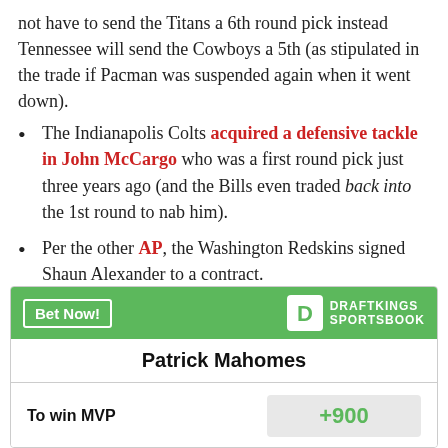not have to send the Titans a 6th round pick instead Tennessee will send the Cowboys a 5th (as stipulated in the trade if Pacman was suspended again when it went down).
The Indianapolis Colts acquired a defensive tackle in John McCargo who was a first round pick just three years ago (and the Bills even traded back into the 1st round to nab him).
Per the other AP, the Washington Redskins signed Shaun Alexander to a contract.
[Figure (other): DraftKings Sportsbook widget showing Patrick Mahomes To win MVP odds of +900]